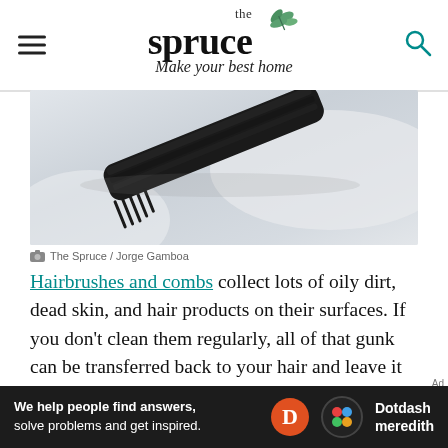the spruce — Make your best home
[Figure (photo): Close-up photo of a black hair comb on a light marble or white surface, showing the teeth of the comb at an angle.]
The Spruce / Jorge Gamboa
Hairbrushes and combs collect lots of oily dirt, dead skin, and hair products on their surfaces. If you don't clean them regularly, all of that gunk can be transferred back to your hair and leave it looking dull and flat.
01 First, remove as much hair as possible from the brush or comb with your fingers or a...
[Figure (other): Dotdash Meredith advertisement banner: 'We help people find answers, solve problems and get inspired.']